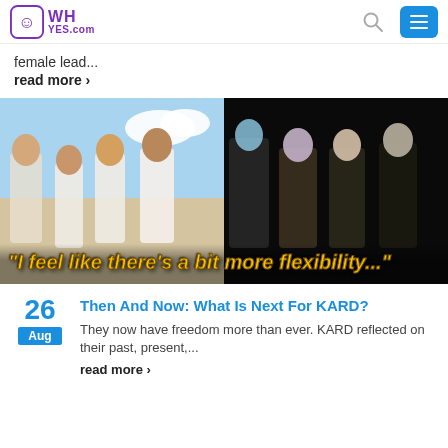WHyes.com
female lead...
read more ›
[Figure (photo): Two K-pop groups side by side. Left: group in white outfits at beach setting. Right: group in dark/colorful outfits. Text overlay reads: "I feel like there's a bit more flexibility..."]
Then And Now: What Is Next For KARD?
They now have freedom more than ever. KARD reflected on their past, present,...
read more ›